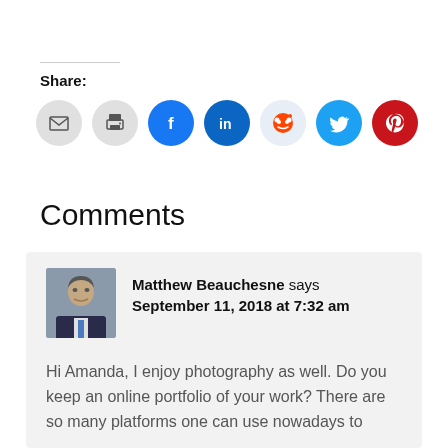Share:
[Figure (infographic): Row of social sharing icon buttons: email (grey), print (grey), Facebook (blue), LinkedIn (dark blue), Reddit (light blue), Twitter (cyan), Pinterest (red)]
Comments
[Figure (photo): Profile photo of Matthew Beauchesne, a man in a dark suit]
Matthew Beauchesne says September 11, 2018 at 7:32 am
Hi Amanda, I enjoy photography as well. Do you keep an online portfolio of your work? There are so many platforms one can use nowadays to